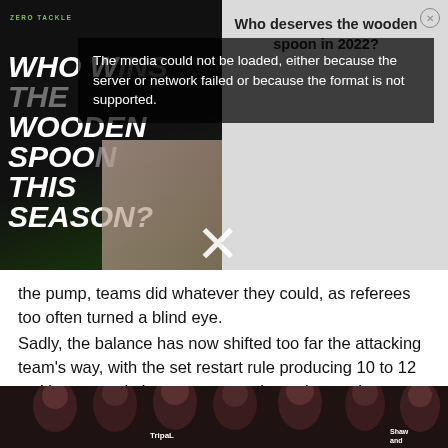[Figure (screenshot): Video overlay area showing a sports promo with left dark/green panel reading 'WHO WINS THE WOODEN SPOON THIS SEASON?' and right panel with question 'Who deserves the wooden spoon in 2022?']
The media could not be loaded, either because the server or network failed or because the format is not supported.
the pump, teams did whatever they could, as referees too often turned a blind eye.
Sadly, the balance has now shifted too far the attacking team's way, with the set restart rule producing 10 to 12 tackle sets and almost guaranteeing points at the completion of them.
[Figure (photo): Photo of rugby league players in dark maroon/burgundy jerseys, several players standing close together, some with hands on heads, including sponsor logos 'TripaL' and 'Shaw and Partners']